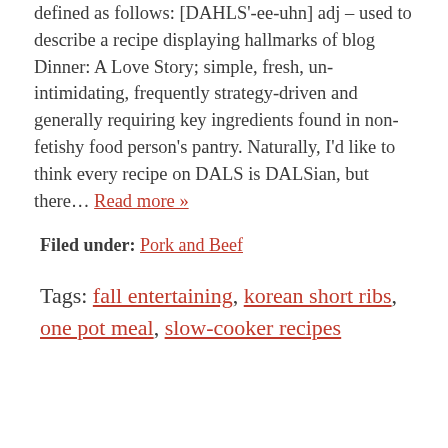defined as follows: [DAHLS'-ee-uhn] adj – used to describe a recipe displaying hallmarks of blog Dinner: A Love Story; simple, fresh, un-intimidating, frequently strategy-driven and generally requiring key ingredients found in non-fetishy food person's pantry. Naturally, I'd like to think every recipe on DALS is DALSian, but there… Read more »
Filed under: Pork and Beef
Tags: fall entertaining, korean short ribs, one pot meal, slow-cooker recipes